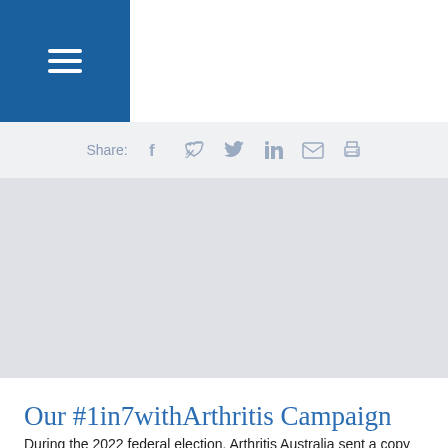≡ (navigation menu icon)
Share: [facebook] [twitter] [linkedin] [email] [print]
[Figure (photo): Gray placeholder hero image for the article]
Our #1in7withArthritis Campaign
During the 2022 federal election, Arthritis Australia sent a copy of our election platform and campaign flag to every federal MP and senator. Hundreds of